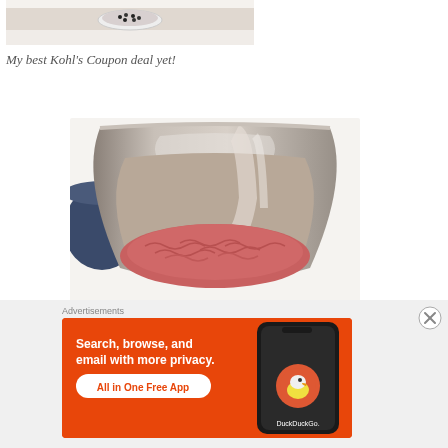[Figure (photo): Top portion of a photo showing a small white bowl with black peppercorns on a white surface]
My best Kohl’s Coupon deal yet!
[Figure (photo): A stainless steel mixing bowl containing raw ground meat (ground beef), with a blue pot visible to the left]
Advertisements
[Figure (screenshot): DuckDuckGo advertisement banner on orange background: 'Search, browse, and email with more privacy. All in One Free App' with DuckDuckGo logo and phone mockup]